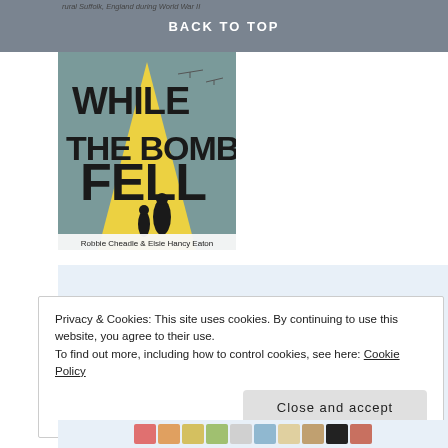BACK TO TOP
[Figure (illustration): Book cover for 'While the Bombs Fell' by Robbie Cheadle & Elsie Hancy Eaton. Yellow and teal cover with bold black text and silhouette of a woman and child.]
Sir Chocolate and the
Privacy & Cookies: This site uses cookies. By continuing to use this website, you agree to their use.
To find out more, including how to control cookies, see here: Cookie Policy
Close and accept
[Figure (photo): Partially visible row of coloured blocks at the bottom of the page.]